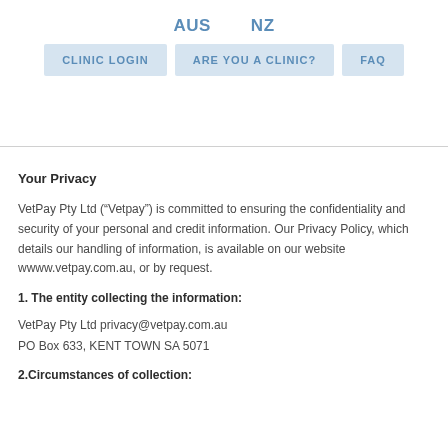AUS   NZ
CLINIC LOGIN   ARE YOU A CLINIC?   FAQ
Your Privacy
VetPay Pty Ltd (“Vetpay”) is committed to ensuring the confidentiality and security of your personal and credit information. Our Privacy Policy, which details our handling of information, is available on our website wwww.vetpay.com.au, or by request.
1. The entity collecting the information:
VetPay Pty Ltd privacy@vetpay.com.au
PO Box 633, KENT TOWN SA 5071
2.Circumstances of collection: